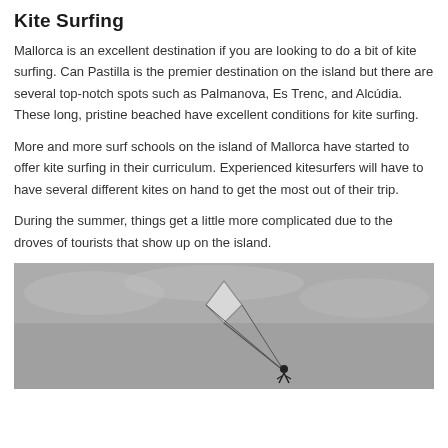Kite Surfing
Mallorca is an excellent destination if you are looking to do a bit of kite surfing. Can Pastilla is the premier destination on the island but there are several top-notch spots such as Palmanova, Es Trenc, and Alcúdia. These long, pristine beached have excellent conditions for kite surfing.
More and more surf schools on the island of Mallorca have started to offer kite surfing in their curriculum. Experienced kitesurfers will have to have several different kites on hand to get the most out of their trip.
During the summer, things get a little more complicated due to the droves of tourists that show up on the island.
[Figure (photo): Black and white photograph of a kite surfer in the sky, showing the kite and lines against a grey cloudy sky background, with the surfer visible at the bottom.]